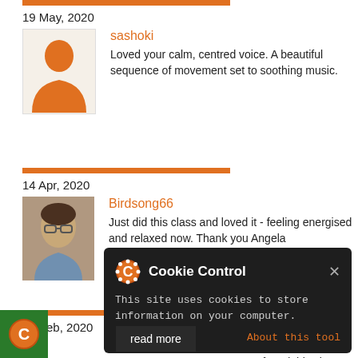19 May, 2020
[Figure (illustration): Orange silhouette avatar placeholder on light background]
sashoki
Loved your calm, centred voice. A beautiful sequence of movement set to soothing music.
14 Apr, 2020
[Figure (photo): Photo of a woman with glasses smiling]
Birdsong66
Just did this class and loved it - feeling energised and relaxed now. Thank you Angela
23 Feb, 2020
dotcrom
Wow! Just found this class with teachers I know in my local
Cookie Control
This site uses cookies to store information on your computer.
About this tool
read more